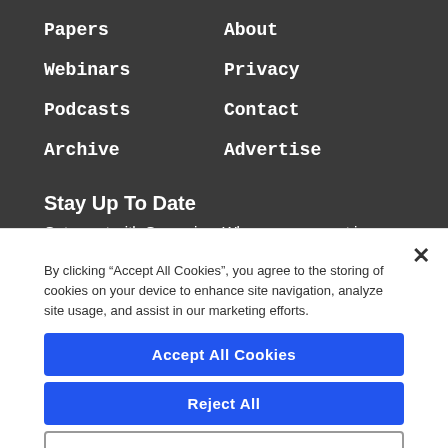Papers
About
Webinars
Privacy
Podcasts
Contact
Archive
Advertise
Stay Up To Date
Get smart with Governing. Where government is going in states & localities.
By clicking “Accept All Cookies”, you agree to the storing of cookies on your device to enhance site navigation, analyze site usage, and assist in our marketing efforts.
Accept All Cookies
Reject All
Cookies Settings